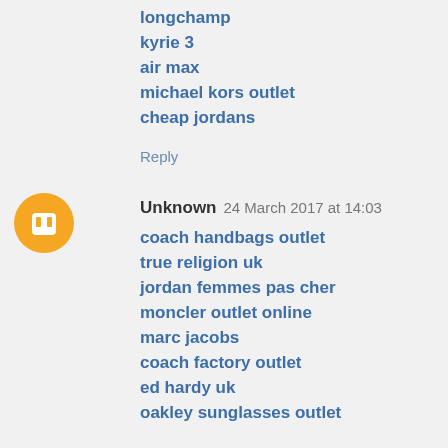longchamp
kyrie 3
air max
michael kors outlet
cheap jordans
Reply
Unknown 24 March 2017 at 14:03
coach handbags outlet
true religion uk
jordan femmes pas cher
moncler outlet online
marc jacobs
coach factory outlet
ed hardy uk
oakley sunglasses outlet
christian louboutin
nike store
xushengda0324
Reply